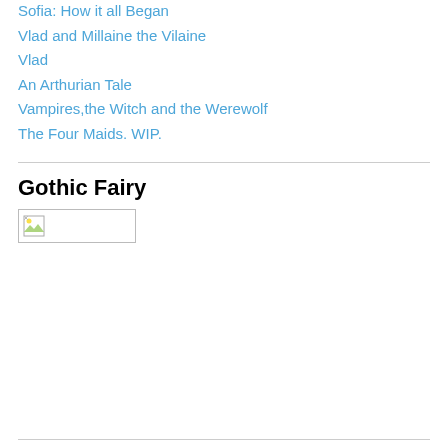Sofia: How it all Began
Vlad and Millaine the Vilaine
Vlad
An Arthurian Tale
Vampires,the Witch and the Werewolf
The Four Maids. WIP.
Gothic Fairy
[Figure (other): Broken image placeholder icon with a small landscape thumbnail icon in the top-left corner, inside a rectangular border]